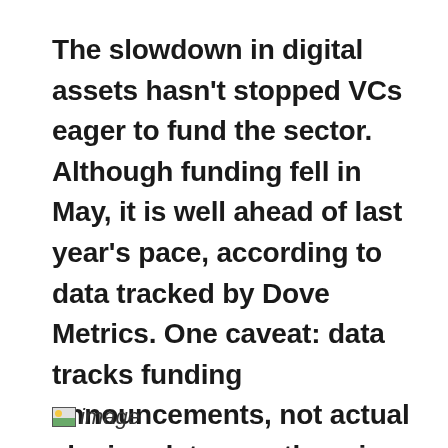The slowdown in digital assets hasn't stopped VCs eager to fund the sector. Although funding fell in May, it is well ahead of last year's pace, according to data tracked by Dove Metrics. One caveat: data tracks funding announcements, not actual closing dates, so there is some lag.
[Figure (other): Image placeholder icon with 'image' label]